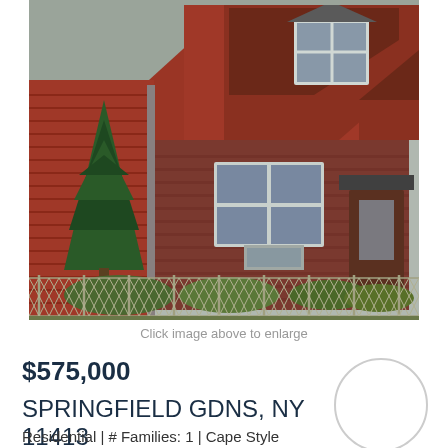[Figure (photo): Exterior photo of a red brick and red-sided Cape Style house with white-framed windows, a green evergreen tree on the left, and a chain-link fence in the foreground. Taken in autumn/overcast conditions.]
Click image above to enlarge
$575,000
SPRINGFIELD GDNS, NY 11413
Residential | # Families: 1 | Cape Style